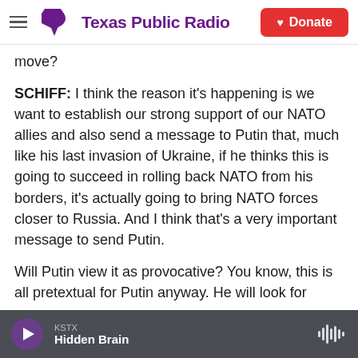Texas Public Radio | Donate
move?
SCHIFF: I think the reason it's happening is we want to establish our strong support of our NATO allies and also send a message to Putin that, much like his last invasion of Ukraine, if he thinks this is going to succeed in rolling back NATO from his borders, it's actually going to bring NATO forces closer to Russia. And I think that's a very important message to send Putin.
Will Putin view it as provocative? You know, this is all pretextual for Putin anyway. He will look for
KSTX
Hidden Brain